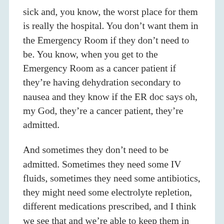sick and, you know, the worst place for them is really the hospital. You don't want them in the Emergency Room if they don't need to be. You know, when you get to the Emergency Room as a cancer patient if they're having dehydration secondary to nausea and they know if the ER doc says oh, my God, they're a cancer patient, they're admitted.
And sometimes they don't need to be admitted. Sometimes they need some IV fluids, sometimes they need some antibiotics, they might need some electrolyte repletion, different medications prescribed, and I think we see that and we're able to keep them in the office and offer those services here, so we do our IV antibiotics and hydrations in the office instead of sending them to the hospital where